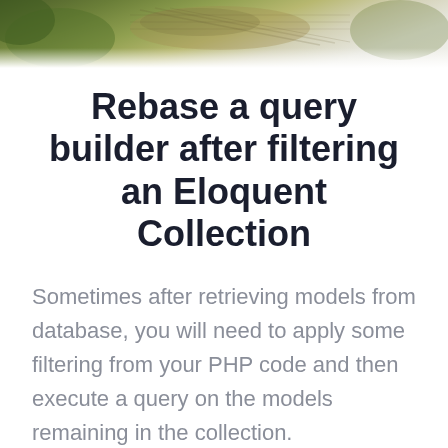[Figure (photo): Close-up photo of a metallic mesh/strainer with blurred green and yellow background]
Rebase a query builder after filtering an Eloquent Collection
Sometimes after retrieving models from database, you will need to apply some filtering from your PHP code and then execute a query on the models remaining in the collection.
Let say you want to retrieve all 3nth logged in users: